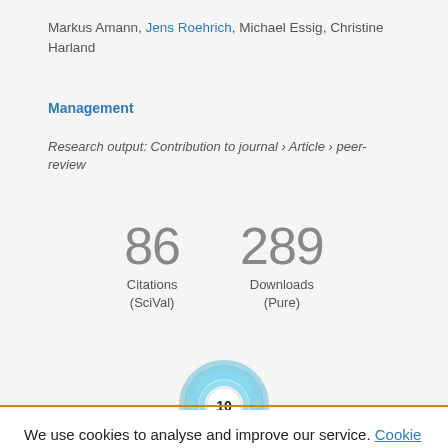Markus Amann, Jens Roehrich, Michael Essig, Christine Harland
Management
Research output: Contribution to journal › Article › peer-review
[Figure (infographic): Metrics display showing 86 Citations (SciVal) and 289 Downloads (Pure)]
[Figure (other): Altmetric donut badge showing score of 10]
We use cookies to analyse and improve our service. Cookie Policy